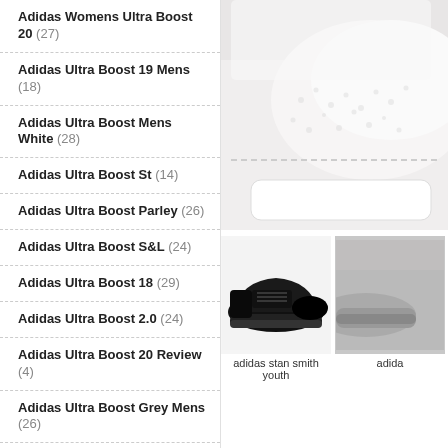Adidas Womens Ultra Boost 20 (27)
Adidas Ultra Boost 19 Mens (18)
Adidas Ultra Boost Mens White (28)
Adidas Ultra Boost St (14)
Adidas Ultra Boost Parley (26)
Adidas Ultra Boost S&L (24)
Adidas Ultra Boost 18 (29)
Adidas Ultra Boost 2.0 (24)
Adidas Ultra Boost 20 Review (4)
Adidas Ultra Boost Grey Mens (26)
Adidas Ultra Boost Laceless (21)
Adidas Ultra Boost Pb (22)
Adidas Womens Ultra Boost 19 (22)
Adidas Ultra Boost 1.0 Triple White (19)
Adidas Ultra Boost 20 Black (24)
Adidas Ultra Boost 20 Grey (26)
[Figure (photo): Close-up of a white Adidas sneaker upper showing textured leather material]
[Figure (photo): Adidas Stan Smith Youth black sneaker on light background]
[Figure (photo): Partial view of another Adidas sneaker (cropped)]
adidas stan smith youth
adida